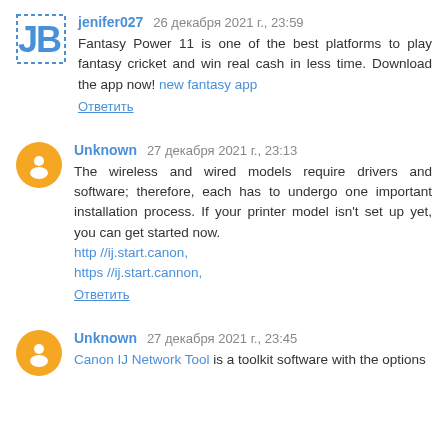jenifer027 26 декабря 2021 г., 23:59
Fantasy Power 11 is one of the best platforms to play fantasy cricket and win real cash in less time. Download the app now! new fantasy app
Ответить
Unknown 27 декабря 2021 г., 23:13
The wireless and wired models require drivers and software; therefore, each has to undergo one important installation process. If your printer model isn't set up yet, you can get started now. http //ij.start.canon, https //ij.start.cannon,
Ответить
Unknown 27 декабря 2021 г., 23:45
Canon IJ Network Tool is a toolkit software with the options